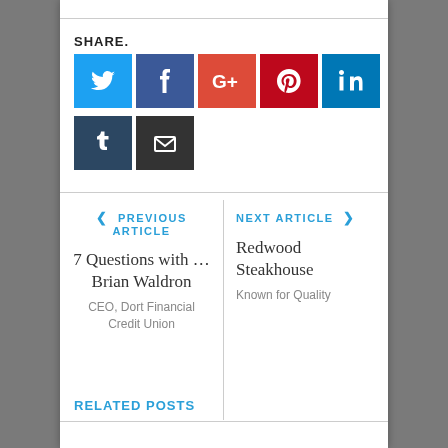SHARE.
[Figure (infographic): Social share buttons: Twitter (blue), Facebook (dark blue), Google+ (orange-red), Pinterest (red), LinkedIn (dark blue), Tumblr (dark navy), Email (dark gray)]
PREVIOUS ARTICLE
7 Questions with … Brian Waldron
CEO, Dort Financial Credit Union
NEXT ARTICLE
Redwood Steakhouse
Known for Quality
RELATED POSTS